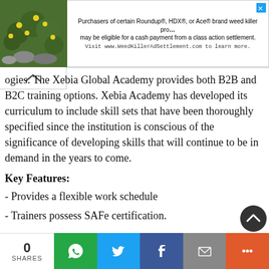[Figure (screenshot): Advertisement banner for Roundup/HDX/Ace weed killer class action settlement. Shows plant image on left and ad text on right with visit URL www.WeedKillerAdSettlement.com]
ogies. The Xebia Global Academy provides both B2B and B2C training options. Xebia Academy has developed its curriculum to include skill sets that have been thoroughly specified since the institution is conscious of the significance of developing skills that will continue to be in demand in the years to come.
Key Features:
- Provides a flexible work schedule
- Trainers possess SAFe certification.
0 SHARES [WhatsApp] [Twitter] [Facebook] [Email] [+]